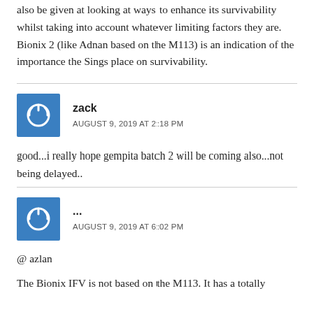be made as part of an upgrade, serious consideration should also be given at looking at ways to enhance its survivability whilst taking into account whatever limiting factors they are. Bionix 2 (like Adnan based on the M113) is an indication of the importance the Sings place on survivability.
zack
AUGUST 9, 2019 AT 2:18 PM
good...i really hope gempita batch 2 will be coming also...not being delayed..
...
AUGUST 9, 2019 AT 6:02 PM
@ azlan
The Bionix IFV is not based on the M113. It has a totally